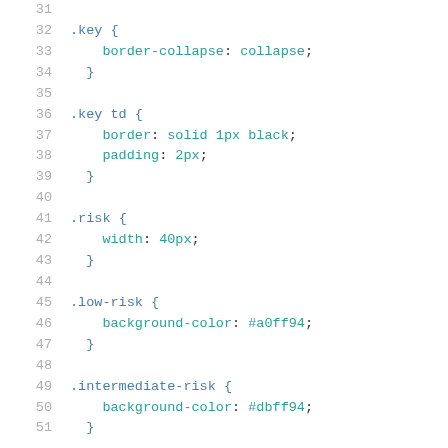[Figure (screenshot): Code editor screenshot showing CSS code lines 31-51 with line numbers in gray, selector names in blue, property names in teal, and values in teal on white background.]